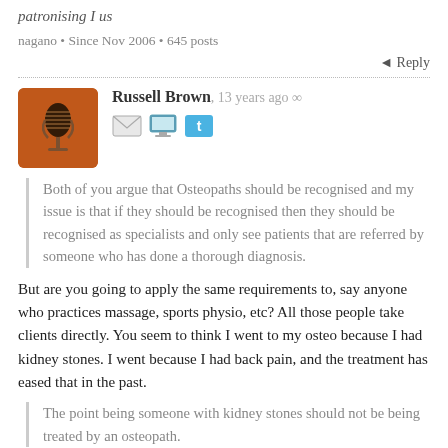patronising I us
nagano • Since Nov 2006 • 645 posts
↵ Reply
[Figure (photo): Orange/brown avatar with microphone icon for user Russell Brown]
Russell Brown, 13 years ago ∞
Both of you argue that Osteopaths should be recognised and my issue is that if they should be recognised then they should be recognised as specialists and only see patients that are referred by someone who has done a thorough diagnosis.
But are you going to apply the same requirements to, say anyone who practices massage, sports physio, etc? All those people take clients directly. You seem to think I went to my osteo because I had kidney stones. I went because I had back pain, and the treatment has eased that in the past.
The point being someone with kidney stones should not be being treated by an osteopath.
Which is why mine sent me to my GP when it